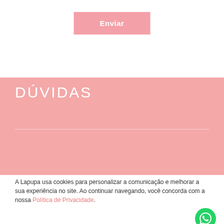[Figure (other): Enviar button — pink rectangular button with white bold text 'Enviar']
DÚVIDAS
Sobre a Lapupa
Como cuidar do seu Lapupa
A Lapupa usa cookies para personalizar a comunicação e melhorar a sua experiência no site. Ao continuar navegando, você concorda com a nossa Política de Privacidade.
[Figure (other): Continuar e Fechar button — light pink rectangular button]
[Figure (other): WhatsApp green circular button with WhatsApp icon]